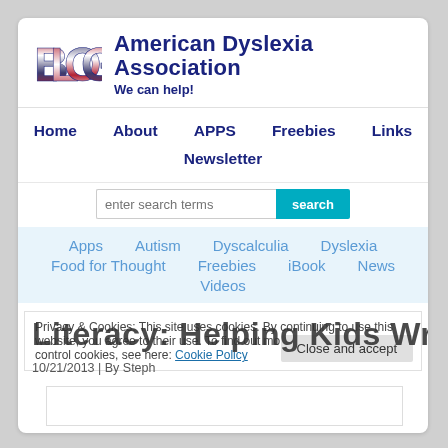[Figure (logo): BLOG text logo with American flag pattern in red, white, blue]
American Dyslexia Association
We can help!
Home   About   APPS   Freebies   Links
Newsletter
enter search terms
Apps
Autism
Dyscalculia
Dyslexia
Food for Thought
Freebies
iBook
News
Videos
Privacy & Cookies: This site uses cookies. By continuing to use this website, you agree to their use. To find out more, including how to control cookies, see here: Cookie Policy
Literacy: Helping Kids Write
10/21/2013 | By Steph